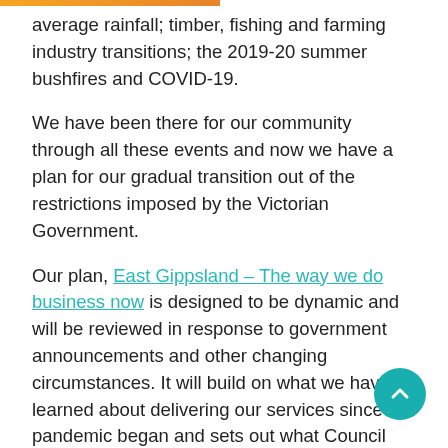average rainfall; timber, fishing and farming industry transitions; the 2019-20 summer bushfires and COVID-19.
We have been there for our community through all these events and now we have a plan for our gradual transition out of the restrictions imposed by the Victorian Government.
Our plan, East Gippsland – The way we do business now is designed to be dynamic and will be reviewed in response to government announcements and other changing circumstances. It will build on what we have learned about delivering our services since the pandemic began and sets out what Council will do to emerge in a way that benefits our community, supports our people and continues to safeguard health and wellbeing of both.